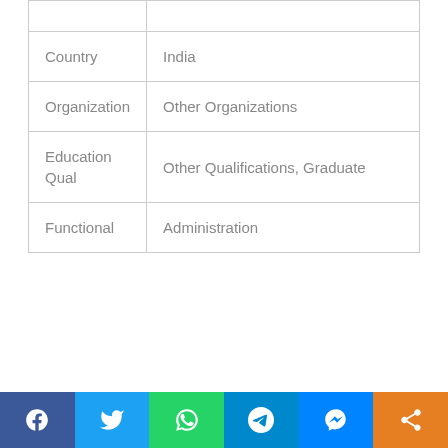|  |  |
| Country | India |
| Organization | Other Organizations |
| Education Qual | Other Qualifications, Graduate |
| Functional | Administration |